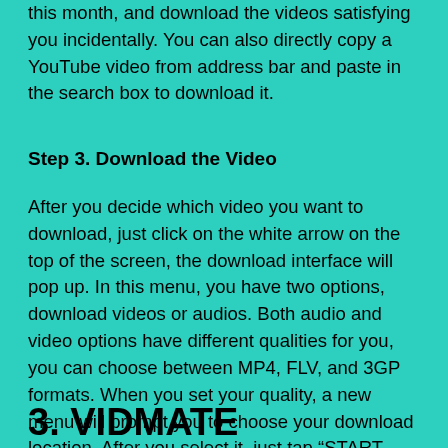this month, and download the videos satisfying you incidentally. You can also directly copy a YouTube video from address bar and paste in the search box to download it.
Step 3. Download the Video
After you decide which video you want to download, just click on the white arrow on the top of the screen, the download interface will pop up. In this menu, you have two options, download videos or audios. Both audio and video options have different qualities for you, you can choose between MP4, FLV, and 3GP formats. When you set your quality, a new menu will prompt you to choose your download location. After you select it, just tap “START DOWNLOAD”, the downloading process starts.
3. VIDMATE